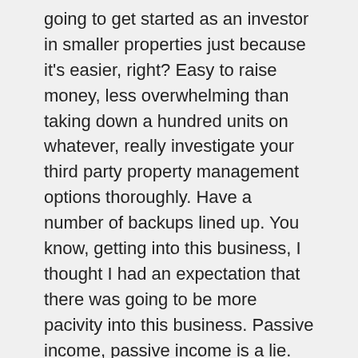going to get started as an investor in smaller properties just because it's easier, right? Easy to raise money, less overwhelming than taking down a hundred units on whatever, really investigate your third party property management options thoroughly. Have a number of backups lined up. You know, getting into this business, I thought I had an expectation that there was going to be more pacivity into this business. Passive income, passive income is a lie. Unless you are a passive investor, if you're going to be a GP and even if you hire third party property management, there's work to do.
In my experience there aren't, I haven't run into many third party PMs that will have the same level of care and attention to detail that I do. You know, you would. So we found ourselves in a situation